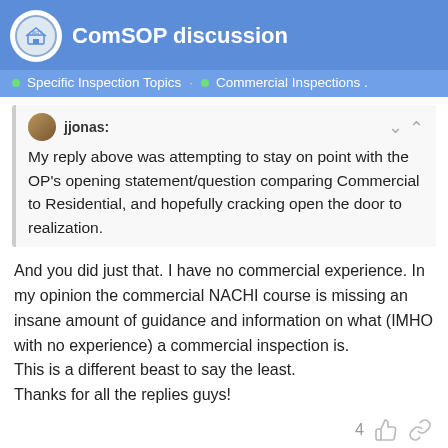ComSOP discussion — Specific Inspection Topics · Commercial Inspections
jjonas:
My reply above was attempting to stay on point with the OP's opening statement/question comparing Commercial to Residential, and hopefully cracking open the door to realization.
And you did just that. I have no commercial experience. In my opinion the commercial NACHI course is missing an insane amount of guidance and information on what (IMHO with no experience) a commercial inspection is.
This is a different beast to say the least.
Thanks for all the replies guys!
4
William Smith, HI1354
wsmith3
Non-Member Guest
13 / 16